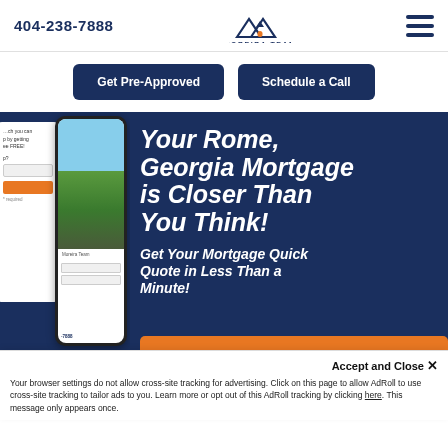404-238-7888
[Figure (logo): Moreira Team logo with house/mountains icon and text 'MOREIRA TEAM powered by MortgageRight']
[Figure (other): Hamburger menu icon (three horizontal lines)]
Get Pre-Approved
Schedule a Call
Your Rome, Georgia Mortgage is Closer Than You Think!
Get Your Mortgage Quick Quote in Less Than a Minute!
Accept and Close ✕
Your browser settings do not allow cross-site tracking for advertising. Click on this page to allow AdRoll to use cross-site tracking to tailor ads to you. Learn more or opt out of this AdRoll tracking by clicking here. This message only appears once.